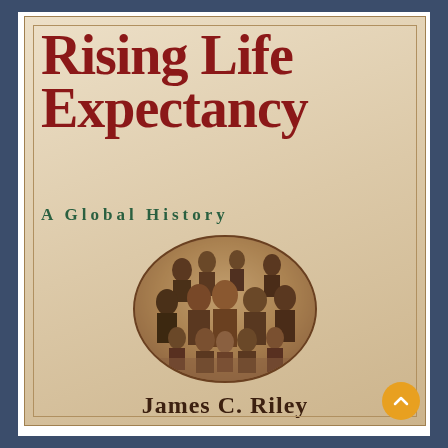[Figure (photo): Book cover of 'Rising Life Expectancy: A Global History' by James C. Riley, featuring a large red serif title, green subtitle, an oval vintage photograph of a large family group, and the author's name at the bottom, set against a beige/tan background with decorative border.]